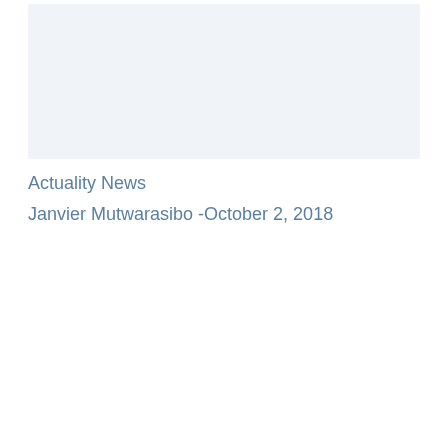[Figure (photo): Light gray rectangular placeholder image area at the top of the page]
Actuality News
Janvier Mutwarasibo -October 2, 2018